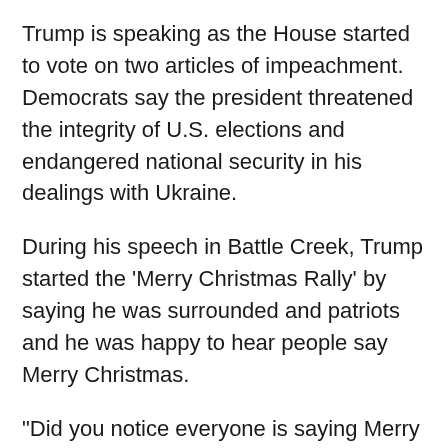Trump is speaking as the House started to vote on two articles of impeachment. Democrats say the president threatened the integrity of U.S. elections and endangered national security in his dealings with Ukraine.
During his speech in Battle Creek, Trump started the 'Merry Christmas Rally' by saying he was surrounded and patriots and he was happy to hear people say Merry Christmas.
"Did you notice everyone is saying Merry Christmas again?" Trump asked, which was received with roars of applause.
Before Trump took the stage, Vice President Mike Pence said that he was going to come out after the